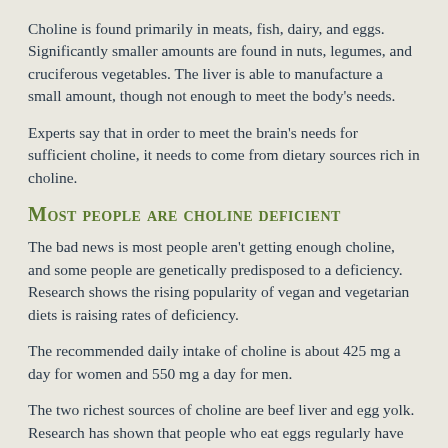Choline is found primarily in meats, fish, dairy, and eggs. Significantly smaller amounts are found in nuts, legumes, and cruciferous vegetables. The liver is able to manufacture a small amount, though not enough to meet the body's needs.
Experts say that in order to meet the brain's needs for sufficient choline, it needs to come from dietary sources rich in choline.
Most people are choline deficient
The bad news is most people aren't getting enough choline, and some people are genetically predisposed to a deficiency. Research shows the rising popularity of vegan and vegetarian diets is raising rates of deficiency.
The recommended daily intake of choline is about 425 mg a day for women and 550 mg a day for men.
The two richest sources of choline are beef liver and egg yolk. Research has shown that people who eat eggs regularly have higher levels of choline (we can assume most people aren't eating liver these days).